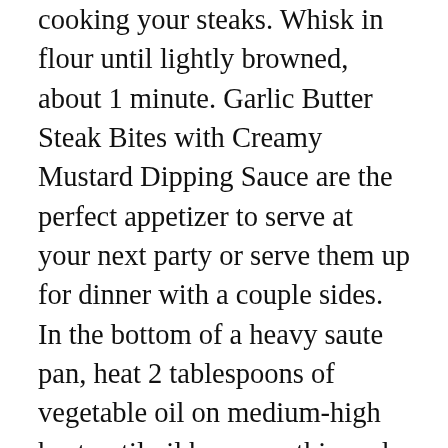cooking your steaks. Whisk in flour until lightly browned, about 1 minute. Garlic Butter Steak Bites with Creamy Mustard Dipping Sauce are the perfect appetizer to serve at your next party or serve them up for dinner with a couple sides. In the bottom of a heavy saute pan, heat 2 tablespoons of vegetable oil on medium-high heat until oil becomes thin and smokes in the pan (about 5 minutes). Hi Steph you didn't happen to work at Dunwoody's in Cairns did you? Add garlic, and cook, stirring frequently, until fragrant, about 1-2 minutes. 19 ratings 4.8 out of 5 star rating. Melt butter in a preheated cooking pan over medium heat and add shallots and garlic. I am looking forward to doing the recipe again. Have made this sauce